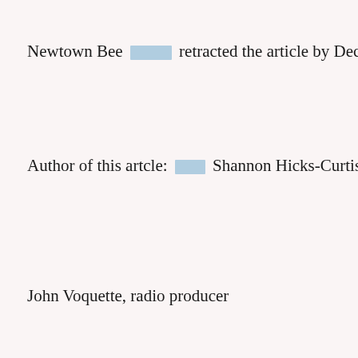Newtown Bee [redacted] retracted the article by Dec 13, 2012
Author of this artcle: [redacted] Shannon Hicks-Curtis
John Voquette, radio producer